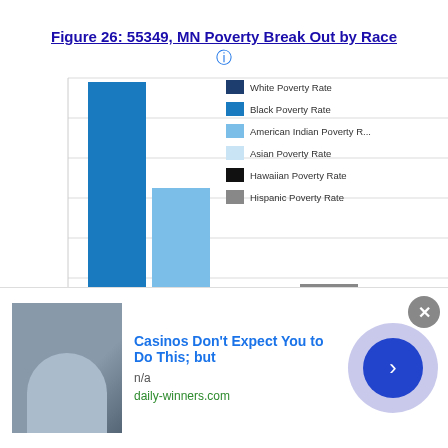Figure 26: 55349, MN Poverty Break Out by Race
[Figure (bar-chart): 55349, MN Poverty Break Out by Race]
Casinos Don't Expect You to Do This; but n/a daily-winners.com